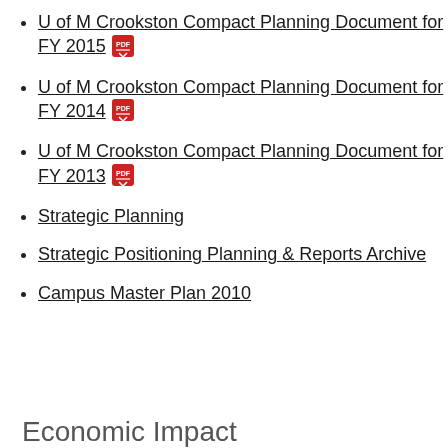U of M Crookston Compact Planning Document for FY 2015
U of M Crookston Compact Planning Document for FY 2014
U of M Crookston Compact Planning Document for FY 2013
Strategic Planning
Strategic Positioning Planning & Reports Archive
Campus Master Plan 2010
Economic Impact